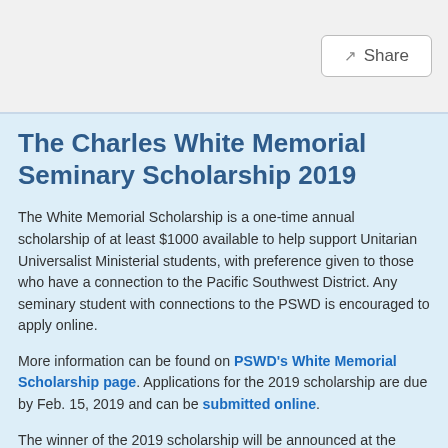Share
The Charles White Memorial Seminary Scholarship 2019
The White Memorial Scholarship is a one-time annual scholarship of at least $1000 available to help support Unitarian Universalist Ministerial students, with preference given to those who have a connection to the Pacific Southwest District. Any seminary student with connections to the PSWD is encouraged to apply online.
More information can be found on PSWD's White Memorial Scholarship page. Applications for the 2019 scholarship are due by Feb. 15, 2019 and can be submitted online.
The winner of the 2019 scholarship will be announced at the PSWD business meeting at District Assembly in Long Beach at the end of April, and be given the